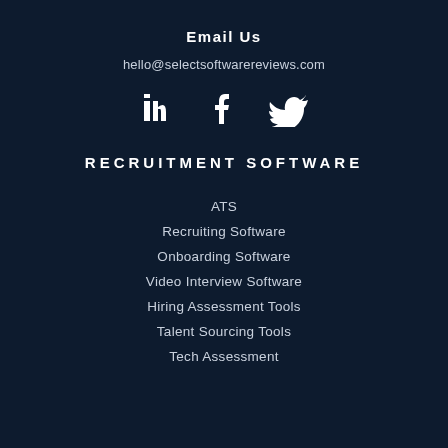Email Us
hello@selectsoftwarereviews.com
[Figure (illustration): Social media icons: LinkedIn, Facebook, Twitter]
RECRUITMENT SOFTWARE
ATS
Recruiting Software
Onboarding Software
Video Interview Software
Hiring Assessment Tools
Talent Sourcing Tools
Tech Assessment